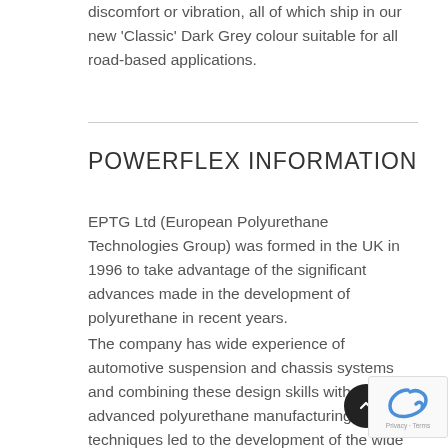discomfort or vibration, all of which ship in our new 'Classic' Dark Grey colour suitable for all road-based applications.
POWERFLEX INFORMATION
EPTG Ltd (European Polyurethane Technologies Group) was formed in the UK in 1996 to take advantage of the significant advances made in the development of polyurethane in recent years.
The company has wide experience of automotive suspension and chassis systems and combining these design skills with advanced polyurethane manufacturing techniques led to the development of the wide range of high performance automotive bushes...